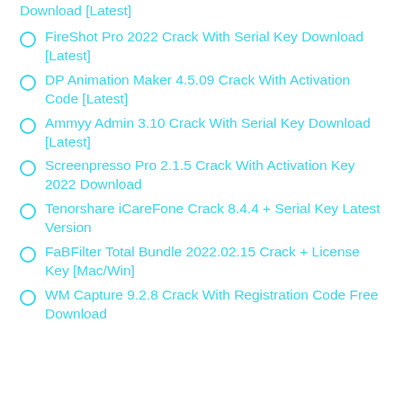Download [Latest]
FireShot Pro 2022 Crack With Serial Key Download [Latest]
DP Animation Maker 4.5.09 Crack With Activation Code [Latest]
Ammyy Admin 3.10 Crack With Serial Key Download [Latest]
Screenpresso Pro 2.1.5 Crack With Activation Key 2022 Download
Tenorshare iCareFone Crack 8.4.4 + Serial Key Latest Version
FaBFilter Total Bundle 2022.02.15 Crack + License Key [Mac/Win]
WM Capture 9.2.8 Crack With Registration Code Free Download